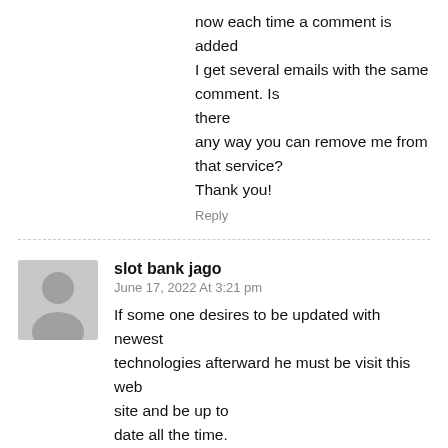now each time a comment is added I get several emails with the same comment. Is there any way you can remove me from that service? Thank you!
Reply
slot bank jago
June 17, 2022 At 3:21 pm
If some one desires to be updated with newest technologies afterward he must be visit this web site and be up to date all the time.
Reply
Agen slot online indonesia
June 17, 2022 At 4:03 pm
I like reading an article that can make people